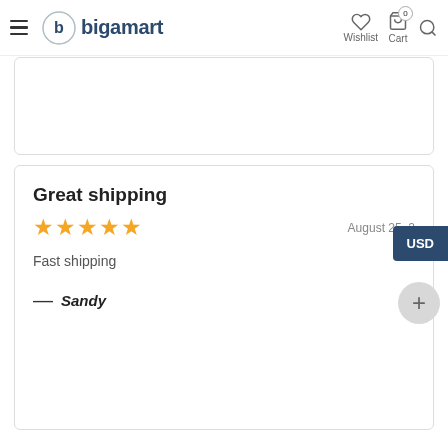bigamart — Wishlist | Cart | Search
Great shipping
★★★★★   August 25, 2...
Fast shipping
— Sandy